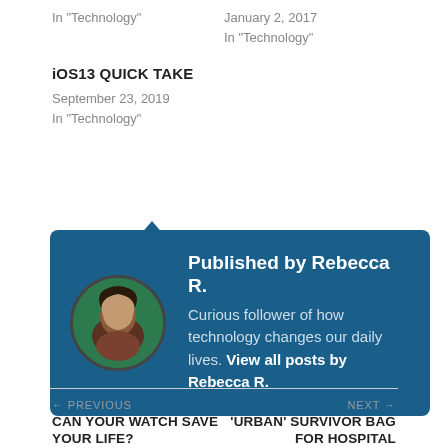In "Technology"
January 2, 2017
In "Technology"
iOS13 QUICK TAKE
September 23, 2019
In "Technology"
Published by Rebecca R.
Curious follower of how technology changes our daily lives. View all posts by Rebecca R.
← PREVIOUS
CAN YOUR WATCH SAVE YOUR LIFE?
NEXT →
'URBAN' SURVIVOR BAG FOR HOSPITAL